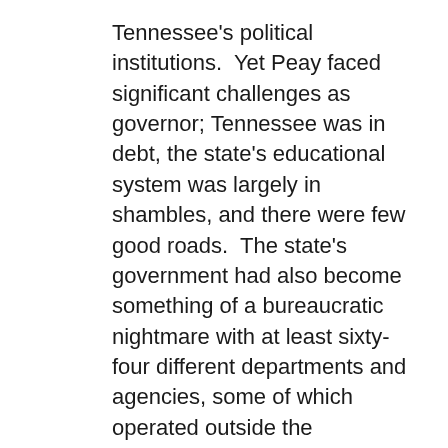Tennessee's political institutions.  Yet Peay faced significant challenges as governor; Tennessee was in debt, the state's educational system was largely in shambles, and there were few good roads.  The state's government had also become something of a bureaucratic nightmare with at least sixty-four different departments and agencies, some of which operated outside the governor's control.  Governor Peay moved immediately to reorganize state government.  The Administrative Reorganization Act reduced the departments and agencies into exactly eight departments; each department would be run by a Commissioner, who in turn reported directly to the governor.  The reorganization also allowed the governor to better control the state budget.
Tennessee also boasted a defined educational...